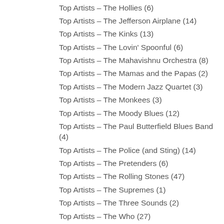Top Artists – The Hollies (6)
Top Artists – The Jefferson Airplane (14)
Top Artists – The Kinks (13)
Top Artists – The Lovin' Spoonful (6)
Top Artists – The Mahavishnu Orchestra (8)
Top Artists – The Mamas and the Papas (2)
Top Artists – The Modern Jazz Quartet (3)
Top Artists – The Monkees (3)
Top Artists – The Moody Blues (12)
Top Artists – The Paul Butterfield Blues Band (4)
Top Artists – The Police (and Sting) (14)
Top Artists – The Pretenders (6)
Top Artists – The Rolling Stones (47)
Top Artists – The Supremes (1)
Top Artists – The Three Sounds (2)
Top Artists – The Who (27)
Top Artists – The Yardbirds (1)
Top Artists – The Zombies (3)
Top Artists – Thelonious Monk (22)
Top Artists – Tim Buckley (0)